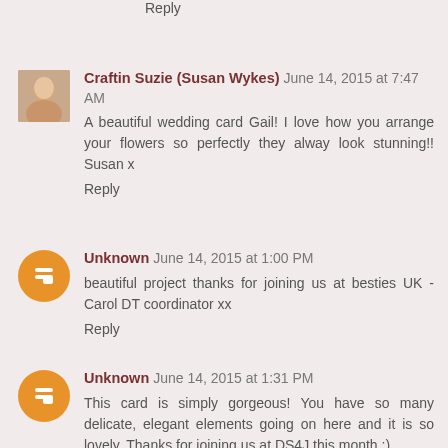Reply
Craftin Suzie (Susan Wykes)   June 14, 2015 at 7:47 AM
A beautiful wedding card Gail! I love how you arrange your flowers so perfectly they alway look stunning!! Susan x
Reply
Unknown   June 14, 2015 at 1:00 PM
beautiful project thanks for joining us at besties UK - Carol DT coordinator xx
Reply
Unknown   June 14, 2015 at 1:31 PM
This card is simply gorgeous! You have so many delicate, elegant elements going on here and it is so lovely. Thanks for joining us at DS4J this month :)
Sara